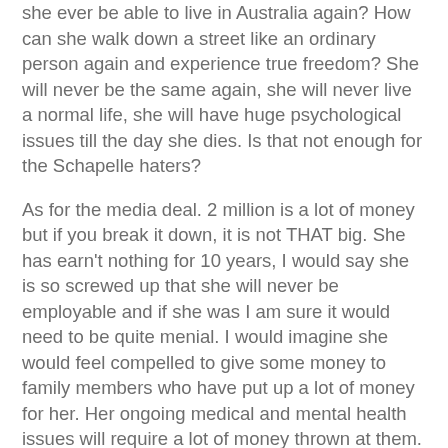she ever be able to live in Australia again? How can she walk down a street like an ordinary person again and experience true freedom? She will never be the same again, she will never live a normal life, she will have huge psychological issues till the day she dies. Is that not enough for the Schapelle haters?
As for the media deal. 2 million is a lot of money but if you break it down, it is not THAT big. She has earn't nothing for 10 years, I would say she is so screwed up that she will never be employable and if she was I am sure it would need to be quite menial. I would imagine she would feel compelled to give some money to family members who have put up a lot of money for her. Her ongoing medical and mental health issues will require a lot of money thrown at them. I am hoping that she will donate some money to some kind of a cause.
I have heard a number of people say that this sends a message to criminals that ALL they have to do is spend 10 years in jail and they are set up for life. Really!!!!  I would bet whatever I had that if she was given the option of getting the